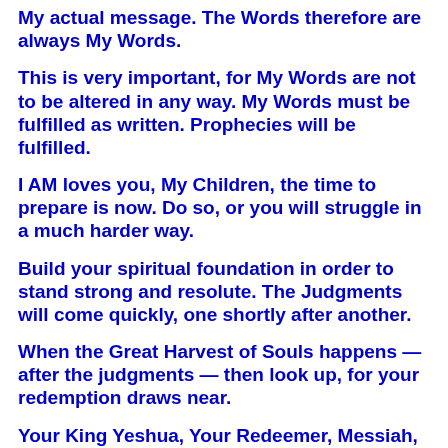My actual message. The Words therefore are always My Words.
This is very important, for My Words are not to be altered in any way. My Words must be fulfilled as written. Prophecies will be fulfilled.
I AM loves you, My Children, the time to prepare is now. Do so, or you will struggle in a much harder way.
Build your spiritual foundation in order to stand strong and resolute. The Judgments will come quickly, one shortly after another.
When the Great Harvest of Souls happens — after the judgments — then look up, for your redemption draws near.
Your King Yeshua, Your Redeemer, Messiah, Your soon-to-be-Bridegroom.